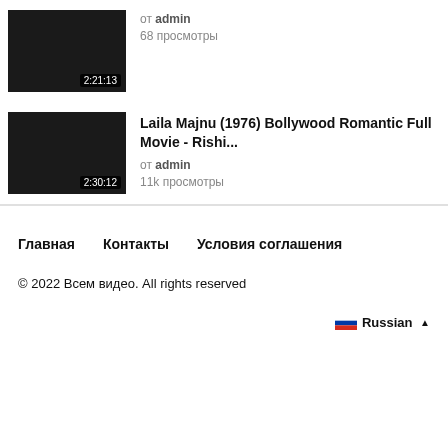[Figure (screenshot): Video thumbnail - dark/black rectangle with duration badge 2:21:13]
от admin
68 просмотры
[Figure (screenshot): Video thumbnail for Laila Majnu (1976) Bollywood Romantic Full Movie - dark rectangle with duration badge 2:30:12]
Laila Majnu (1976) Bollywood Romantic Full Movie - Rishi...
от admin
11k просмотры
Главная   Контакты   Условия соглашения
© 2022 Всем видео. All rights reserved
Russian ▲